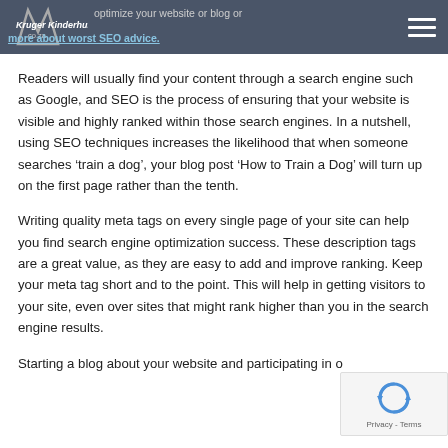Kruger Kinderhuis .co.za — optimize your website or blog — read more about worst SEO advice.
Readers will usually find your content through a search engine such as Google, and SEO is the process of ensuring that your website is visible and highly ranked within those search engines. In a nutshell, using SEO techniques increases the likelihood that when someone searches ‘train a dog’, your blog post ‘How to Train a Dog’ will turn up on the first page rather than the tenth.
Writing quality meta tags on every single page of your site can help you find search engine optimization success. These description tags are a great value, as they are easy to add and improve ranking. Keep your meta tag short and to the point. This will help in getting visitors to your site, even over sites that might rank higher than you in the search engine results.
Starting a blog about your website and participating in other related blogs can be an effective SEO technique. Blogs...